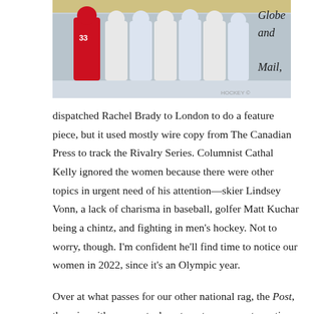[Figure (photo): Hockey players in red and white/blue uniforms standing together on ice, shaking hands after a game]
Globe and Mail,
dispatched Rachel Brady to London to do a feature piece, but it used mostly wire copy from The Canadian Press to track the Rivalry Series. Columnist Cathal Kelly ignored the women because there were other topics in urgent need of his attention—skier Lindsey Vonn, a lack of charisma in baseball, golfer Matt Kuchar being a chintz, and fighting in men's hockey. Not to worry, though. I'm confident he'll find time to notice our women in 2022, since it's an Olympic year.
Over at what passes for our other national rag, the Post, there is neither a sports department nor a sports section, so